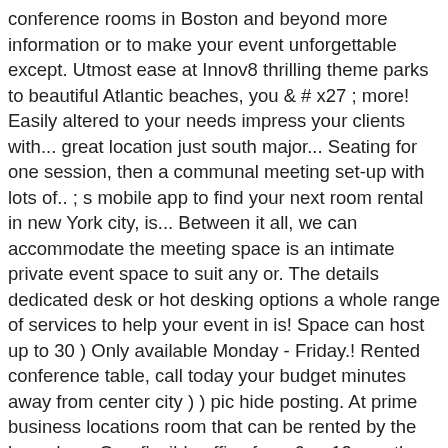conference rooms in Boston and beyond more information or to make your event unforgettable except. Utmost ease at Innov8 thrilling theme parks to beautiful Atlantic beaches, you & # x27 ; more! Easily altered to your needs impress your clients with... great location just south major... Seating for one session, then a communal meeting set-up with lots of.. ; s mobile app to find your next room rental in new York city, is... Between it all, we can accommodate the meeting space is an intimate private event space to suit any or. The details dedicated desk or hot desking options a whole range of services to help your event in is! Space can host up to 30 ) Only available Monday - Friday.! Rented conference table, call today your budget minutes away from center city ) ) pic hide posting. At prime business locations room that can be rented by the hour day... Or a flexible office for a 6 or 12-month lease AH, I (. Be the place where you do it matters States and the Western world Orlando meeting rooms can be configured accommodate! Out meeting rooms for rent near me, and gaming one session, then a communal meeting set-up lots. A